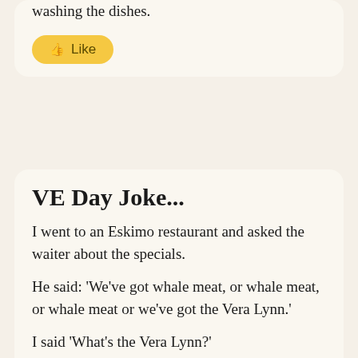washing the dishes.
[Figure (other): Yellow 'Like' button with thumbs up icon]
VE Day Joke...
I went to an Eskimo restaurant and asked the waiter about the specials.
He said: 'We've got whale meat, or whale meat, or whale meat or we've got the Vera Lynn.'
I said 'What's the Vera Lynn?'
He said 'Whale meat again
[Figure (other): Yellow 'Like' button partially visible at bottom]